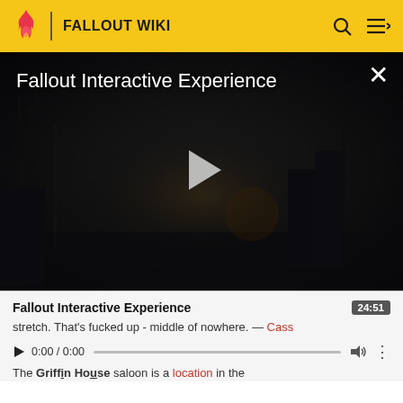FALLOUT WIKI
[Figure (screenshot): Fallout Interactive Experience video player showing dark post-apocalyptic scene with play button overlay. Title reads 'Fallout Interactive Experience'. Close button (X) in top-right corner.]
Fallout Interactive Experience
stretch. That's fucked up - middle of nowhere. — Cass
0:00 / 0:00   [audio controls]   24:51
The Griffin House saloon is a location in the